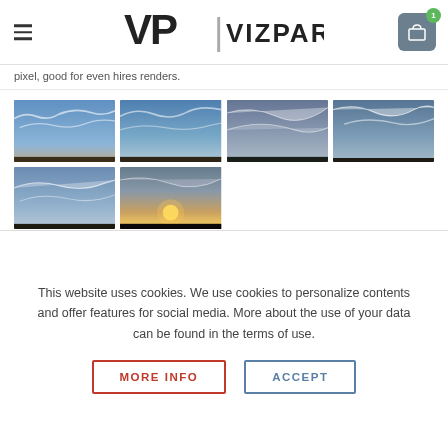[Figure (screenshot): VizPark website header with hamburger menu, VP|VIZPARK logo, and shopping cart icon with badge showing 1 item]
pixel, good for even hires renders.
[Figure (photo): Grid of 6 sky/cloud panoramic photos for 3D rendering backgrounds - 4 in top row, 2 in bottom row]
This website uses cookies. We use cookies to personalize contents and offer features for social media. More about the use of your data can be found in the terms of use.
MORE INFO
ACCEPT